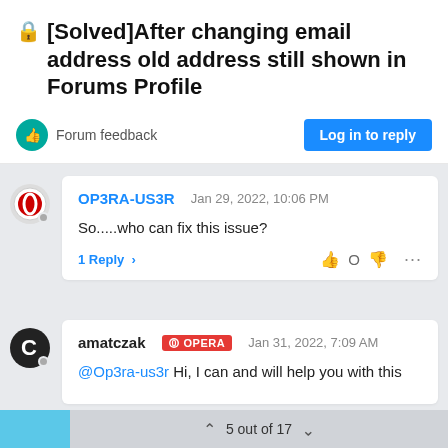🔒[Solved]After changing email address old address still shown in Forums Profile
Forum feedback
Log in to reply
OP3RA-US3R  Jan 29, 2022, 10:06 PM
So.....who can fix this issue?
1 Reply >
amatczak  OPERA  Jan 31, 2022, 7:09 AM
@Op3ra-us3r Hi, I can and will help you with this
5 out of 17